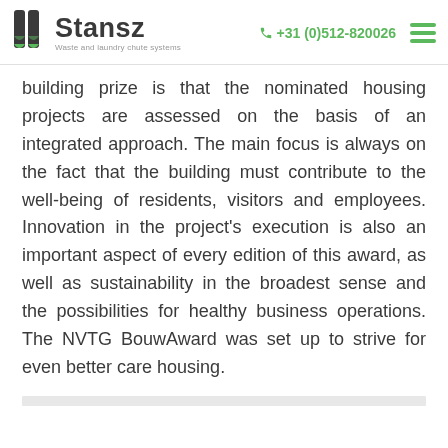Stansz — Waste and laundry chute systems | +31 (0)512-820026
building prize is that the nominated housing projects are assessed on the basis of an integrated approach. The main focus is always on the fact that the building must contribute to the well-being of residents, visitors and employees. Innovation in the project's execution is also an important aspect of every edition of this award, as well as sustainability in the broadest sense and the possibilities for healthy business operations. The NVTG BouwAward was set up to strive for even better care housing.